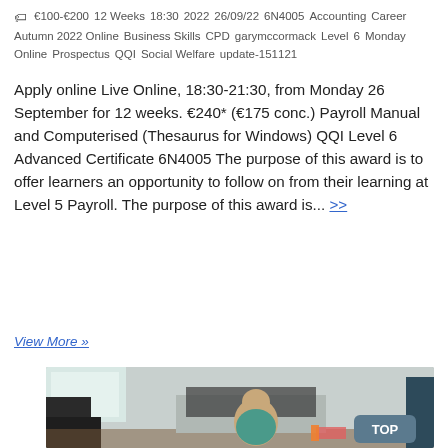🏷 €100-€200  12 Weeks  18:30  2022  26/09/22  6N4005  Accounting  Career  Autumn 2022 Online  Business Skills  CPD  garymccormack  Level 6  Monday  Online  Prospectus  QQI  Social Welfare  update-151121
Apply online Live Online, 18:30-21:30, from Monday 26 September for 12 weeks. €240* (€175 conc.) Payroll Manual and Computerised (Thesaurus for Windows) QQI Level 6 Advanced Certificate 6N4005 The purpose of this award is to offer learners an opportunity to follow on from their learning at Level 5 Payroll. The purpose of this award is... >>
View More »
[Figure (photo): A young toddler child sitting on a floor playing or drawing, photographed indoors with living room furniture in the background. A 'TOP' button badge appears in the bottom right corner of the image.]